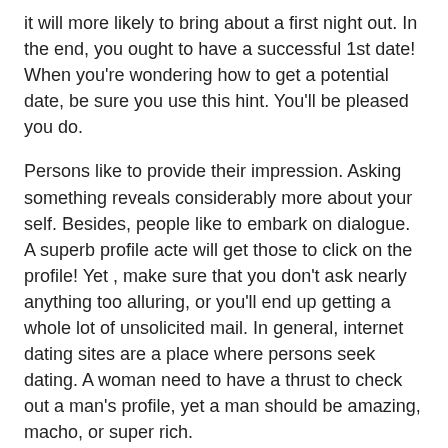it will more likely to bring about a first night out. In the end, you ought to have a successful 1st date! When you're wondering how to get a potential date, be sure you use this hint. You'll be pleased you do.
Persons like to provide their impression. Asking something reveals considerably more about your self. Besides, people like to embark on dialogue. A superb profile acte will get those to click on the profile! Yet , make sure that you don't ask nearly anything too alluring, or you'll end up getting a whole lot of unsolicited mail. In general, internet dating sites are a place where persons seek dating. A woman need to have a thrust to check out a man's profile, yet a man should be amazing, macho, or super rich.
Leave a Reply
Your email address will not be published. Required fields are marked *